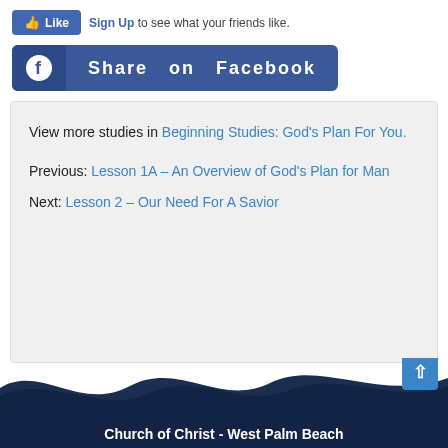[Figure (screenshot): Facebook Like button with thumbs up icon and 'Sign Up to see what your friends like.' text]
[Figure (screenshot): Facebook Share on Facebook button with Facebook logo icon]
View more studies in Beginning Studies: God's Plan For You.

Previous: Lesson 1A – An Overview of God's Plan for Man
Next: Lesson 2 – Our Need For A Savior
Church of Christ - West Palm Beach